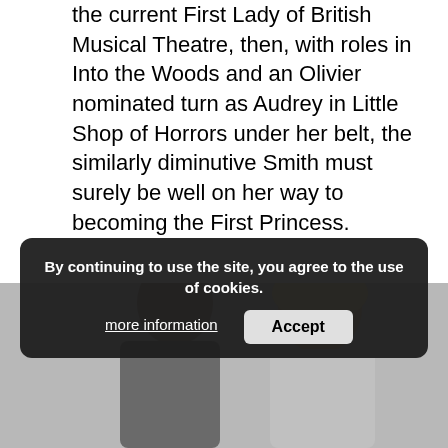the current First Lady of British Musical Theatre, then, with roles in Into the Woods and an Olivier nominated turn as Audrey in Little Shop of Horrors under her belt, the similarly diminutive Smith must surely be well on her way to becoming the First Princess.
Actually, most musical theatre performers would long for the kind of diverse and eclectic career that Smith has enjoyed. A seasoned old pro at the age of just 28, she has notched up credits in film, theatre, on TV, in Shakespeare, in drama, in comedy and in musical theatre. With her range and versatility she is, rightly, one of the UK's best loved young actors.
[Figure (photo): Photo of two people (a man and a woman) partially visible at the bottom of the page, cut off by the cookie banner overlay.]
By continuing to use the site, you agree to the use of cookies.
more information    Accept